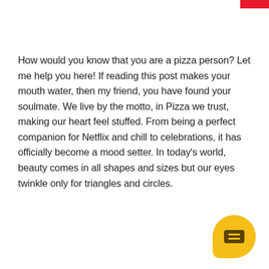How would you know that you are a pizza person? Let me help you here! If reading this post makes your mouth water, then my friend, you have found your soulmate. We live by the motto, in Pizza we trust, making our heart feel stuffed. From being a perfect companion for Netflix and chill to celebrations, it has officially become a mood setter. In today's world, beauty comes in all shapes and sizes but our eyes twinkle only for triangles and circles.
[Figure (illustration): Yellow rounded speech bubble icon with two horizontal lines representing a chat/message icon, positioned in the bottom-right corner]